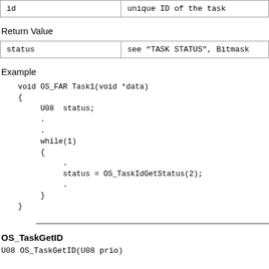| id | unique ID of the task |
Return Value
| status | see "TASK STATUS", Bitmask |
Example
void OS_FAR Task1(void *data)
{
     U08  status;
     .
     .
     while(1)
     {
          .
          status = OS_TaskIdGetStatus(2);
          .
     }
}
OS_TaskGetID
U08 OS_TaskGetID(U08 prio)